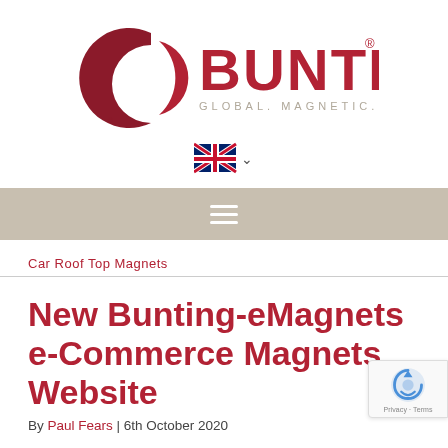[Figure (logo): Bunting logo with red circular icon and red BUNTING text, tagline GLOBAL. MAGNETIC. FORCE. in grey below]
[Figure (other): UK flag icon with dropdown chevron for language selection]
[Figure (other): Hamburger/navigation menu icon (three white horizontal lines on tan/beige background bar)]
Car Roof Top Magnets
New Bunting-eMagnets e-Commerce Magnets Website
By Paul Fears | 6th October 2020